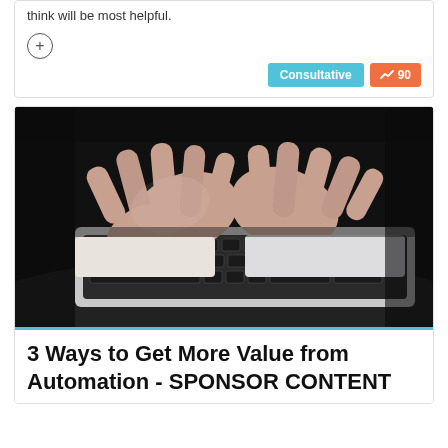think will be most helpful.
[Figure (photo): Hands typing on a laptop keyboard, close-up shot with dark background]
3 Ways to Get More Value from Automation - SPONSOR CONTENT